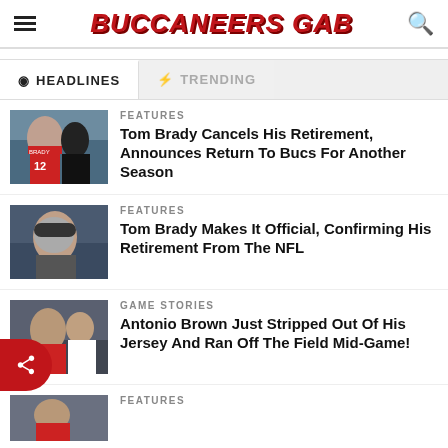BUCCANEERS GAB
HEADLINES | TRENDING
FEATURES
Tom Brady Cancels His Retirement, Announces Return To Bucs For Another Season
FEATURES
Tom Brady Makes It Official, Confirming His Retirement From The NFL
GAME STORIES
Antonio Brown Just Stripped Out Of His Jersey And Ran Off The Field Mid-Game!
FEATURES